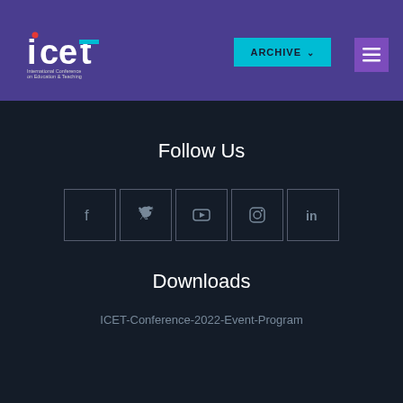[Figure (logo): ICET International Conference on Education & Teaching logo in white text on purple background]
ARCHIVE
[Figure (infographic): Hamburger menu button icon]
Follow Us
[Figure (infographic): Social media icons row: Facebook, Twitter, YouTube, Instagram, LinkedIn]
Downloads
ICET-Conference-2022-Event-Program